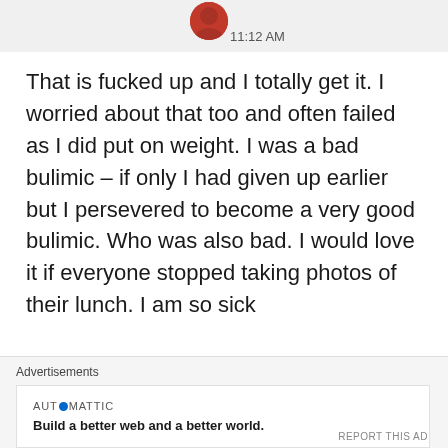11:12 AM
That is fucked up and I totally get it. I worried about that too and often failed as I did put on weight. I was a bad bulimic – if only I had given up earlier but I persevered to become a very good bulimic. Who was also bad. I would love it if everyone stopped taking photos of their lunch. I am so sick
Advertisements
AUTOMATTIC
Build a better web and a better world.